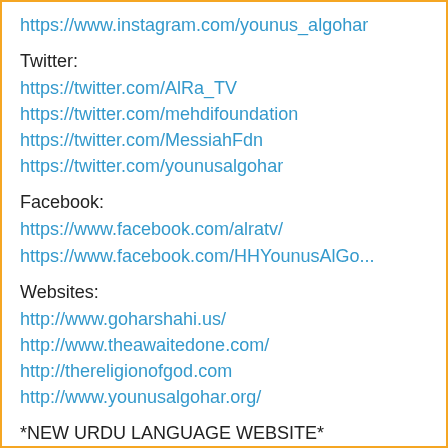https://www.instagram.com/younus_algohar
Twitter:
https://twitter.com/AlRa_TV
https://twitter.com/mehdifoundation
https://twitter.com/MessiahFdn
https://twitter.com/younusalgohar
Facebook:
https://www.facebook.com/alratv/
https://www.facebook.com/HHYounusAlGo...
Websites:
http://www.goharshahi.us/
http://www.theawaitedone.com/
http://thereligionofgod.com
http://www.younusalgohar.org/
*NEW URDU LANGUAGE WEBSITE*
http://www.mehdifoundation.com/